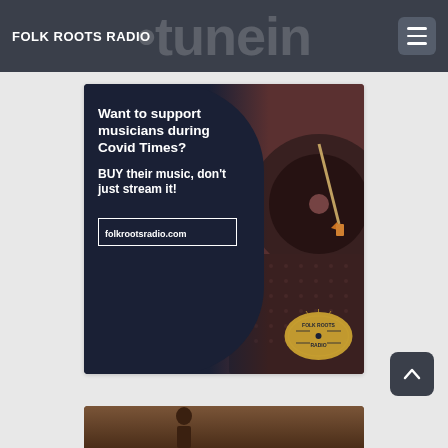FOLK ROOTS RADIO
[Figure (illustration): Folk Roots Radio advertisement banner. Dark navy left panel with curved edge showing text: 'Want to support musicians during Covid Times? BUY their music, don't just stream it! folkrootsradio.com' with Folk Roots Radio logo. Right panel shows photograph of a record player needle/stylus on a vinyl record.]
[Figure (photo): Partial view of a photograph at the bottom of the page, showing what appears to be a person or scene, partially cut off.]